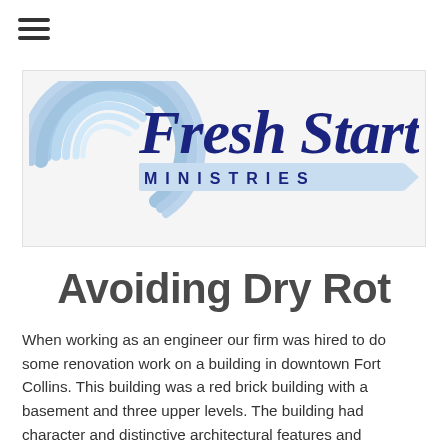[Figure (logo): Fresh Start Ministries logo with swirl graphic and arrow]
Avoiding Dry Rot
When working as an engineer our firm was hired to do some renovation work on a building in downtown Fort Collins. This building was a red brick building with a basement and three upper levels. The building had character and distinctive architectural features and